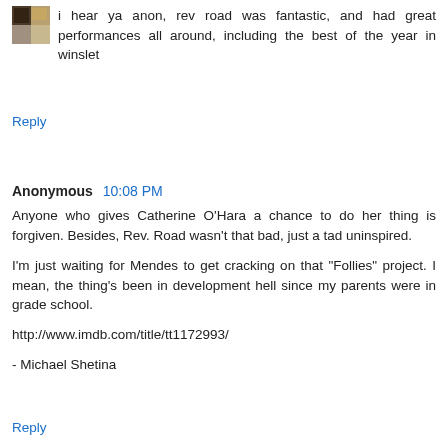i hear ya anon, rev road was fantastic, and had great performances all around, including the best of the year in winslet
Reply
Anonymous  10:08 PM
Anyone who gives Catherine O'Hara a chance to do her thing is forgiven. Besides, Rev. Road wasn't that bad, just a tad uninspired.

I'm just waiting for Mendes to get cracking on that "Follies" project. I mean, the thing's been in development hell since my parents were in grade school.

http://www.imdb.com/title/tt1172993/

- Michael Shetina
Reply